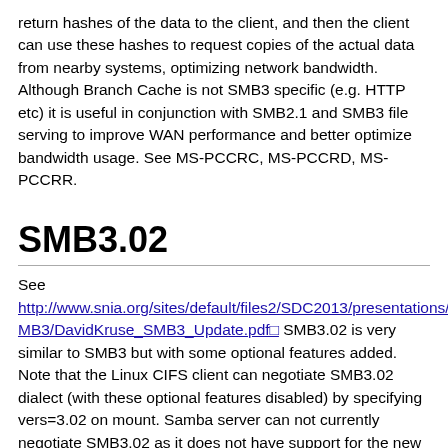return hashes of the data to the client, and then the client can use these hashes to request copies of the actual data from nearby systems, optimizing network bandwidth. Although BranchCache is not SMB3 specific (e.g. HTTP etc) it is useful in conjunction with SMB2.1 and SMB3 file serving to improve WAN performance and better optimize bandwidth usage. See MS-PCCRC, MS-PCCRD, MS-PCCRR.
SMB3.02
See http://www.snia.org/sites/default/files2/SDC2013/presentations/SMB3/DavidKruse_SMB3_Update.pdf SMB3.02 is very similar to SMB3 but with some optional features added. Note that the Linux CIFS client can negotiate SMB3.02 dialect (with these optional features disabled) by specifying vers=3.02 on mount. Samba server can not currently negotiate SMB3.02 as it does not have support for the new READ/WRITE flags (and the RDMA and Witness protocol improvements for SMB3.02 are not